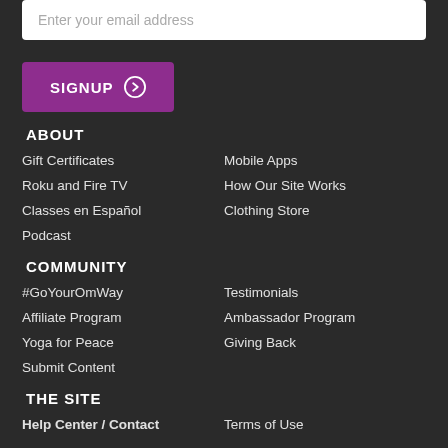Enter your email address
SIGNUP
ABOUT
Gift Certificates
Mobile Apps
Roku and Fire TV
How Our Site Works
Classes en Español
Clothing Store
Podcast
COMMUNITY
#GoYourOmWay
Testimonials
Affiliate Program
Ambassador Program
Yoga for Peace
Giving Back
Submit Content
THE SITE
Help Center / Contact
Terms of Use